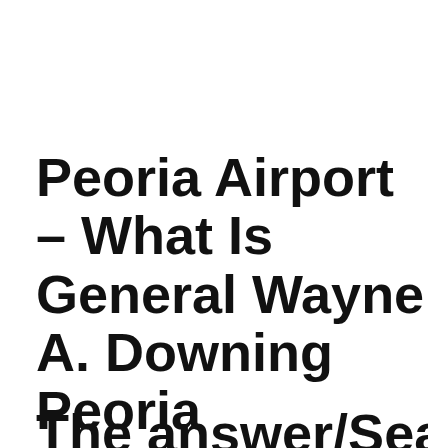Peoria Airport – What Is General Wayne A. Downing Peoria International Airport Code?
The answer/Search for Peoria